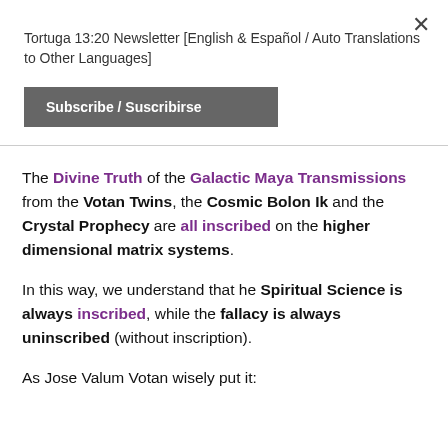Tortuga 13:20 Newsletter [English & Español / Auto Translations to Other Languages]
Subscribe / Suscribirse
The Divine Truth of the Galactic Maya Transmissions from the Votan Twins, the Cosmic Bolon Ik and the Crystal Prophecy are all inscribed on the higher dimensional matrix systems.
In this way, we understand that he Spiritual Science is always inscribed, while the fallacy is always uninscribed (without inscription).
As Jose Valum Votan wisely put it: